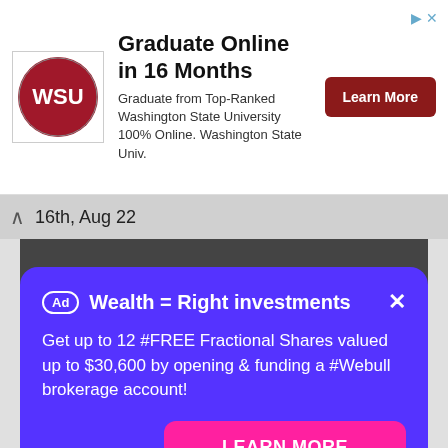[Figure (infographic): Washington State University logo — circular red logo with WSU text]
Graduate Online in 16 Months
Graduate from Top-Ranked Washington State University 100% Online. Washington State Univ.
Learn More
16th, Aug 22
[Figure (photo): Dark background image behind article]
World news
Afro-Colombians helped install a new government in
Ad Wealth = Right investments ×
Get up to 12 #FREE Fractional Shares valued up to $30,600 by opening & funding a #Webull brokerage account!
LEARN MORE